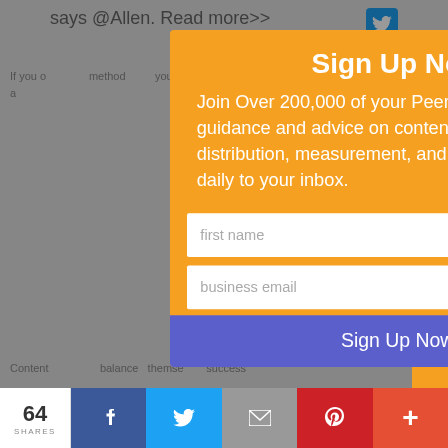says @Allen. Read more>>
If you o... method... you risk... commit... Repaint... times... as bad a...
Content... balance... themse... success...
[Figure (screenshot): Sign Up Now modal popup with orange background over a website page. Modal contains title 'Sign Up Now', body text 'Join Over 200,000 of your Peers and get how-to guidance and advice on content creation, distribution, measurement, and more delivered daily to your inbox.', a first name input field, a business email input field, and a blue 'Sign Up Now' button. A close X button is in the top right of the modal. A 'Recommended for you' orange sidebar tab is on the right edge. Bottom bar shows 64 SHARES with Facebook, Twitter, email, Pinterest, and plus share buttons.]
64 SHARES